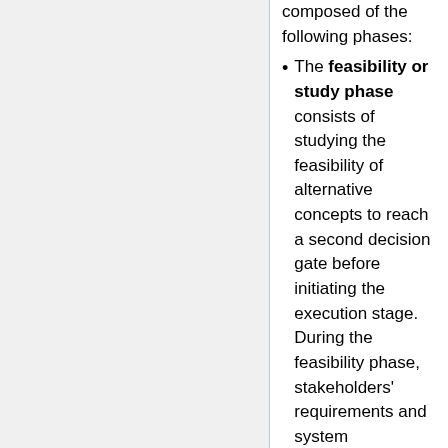composed of the following phases:
The feasibility or study phase consists of studying the feasibility of alternative concepts to reach a second decision gate before initiating the execution stage. During the feasibility phase, stakeholders' requirements and system requirements are identified, viable solutions are identified and studied, and virtual prototypes